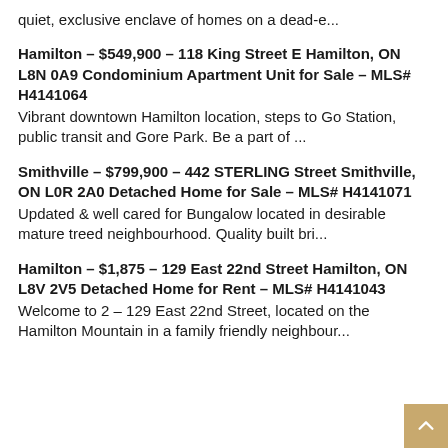quiet, exclusive enclave of homes on a dead-e...
Hamilton - $549,900 - 118 King Street E Hamilton, ON L8N 0A9 Condominium Apartment Unit for Sale - MLS# H4141064
Vibrant downtown Hamilton location, steps to Go Station, public transit and Gore Park. Be a part of ...
Smithville - $799,900 - 442 STERLING Street Smithville, ON L0R 2A0 Detached Home for Sale - MLS# H4141071
Updated & well cared for Bungalow located in desirable mature treed neighbourhood. Quality built bri...
Hamilton - $1,875 - 129 East 22nd Street Hamilton, ON L8V 2V5 Detached Home for Rent - MLS# H4141043
Welcome to 2 - 129 East 22nd Street, located on the Hamilton Mountain in a family friendly neighbour...